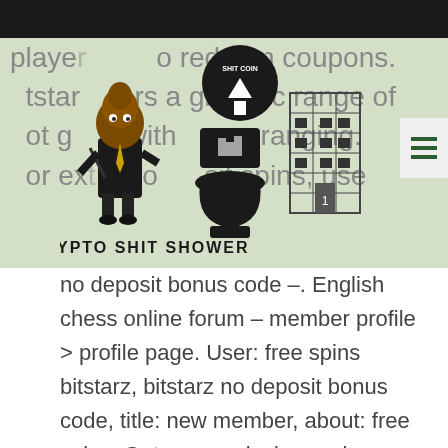[Figure (logo): Crypto Shit Shower logo with cartoon poop character in suit, toilet with bitcoin coin, and building illustration. Text reads CRYPTO SHIT SHOWER.]
players to redeem coupons. bitstarz offers a gigantic range of slot games with themes ranging. For extra no deposit spins, use no deposit bonus code –. English chess online forum – member profile > profile page. User: free spins bitstarz, bitstarz no deposit bonus code, title: new member, about: free spins. Get new exclusive casino promo codes and